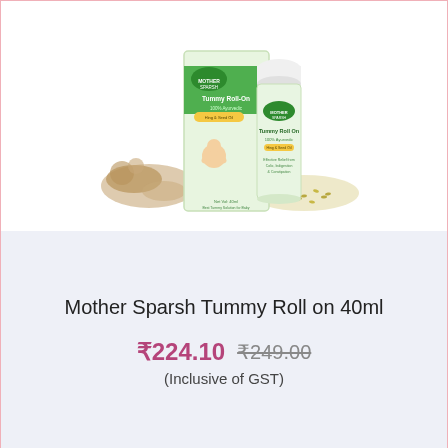[Figure (photo): Mother Sparsh Tummy Roll-On 40ml product image showing a box and a roll-on bottle with ginger and seed ingredients in the background]
Mother Sparsh Tummy Roll on 40ml
₹224.10  ₹249.00  (Inclusive of GST)